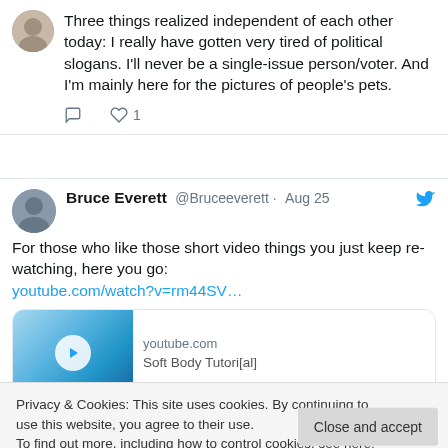Three things realized independent of each other today: I really have gotten very tired of political slogans. I'll never be a single-issue person/voter. And I'm mainly here for the pictures of people's pets.
Bruce Everett @Bruceeverett · Aug 25
For those who like those short video things you just keep re-watching, here you go:
youtube.com/watch?v=rm44SV...
[Figure (screenshot): YouTube video preview card showing youtube.com domain and partial title text]
Privacy & Cookies: This site uses cookies. By continuing to use this website, you agree to their use.
To find out more, including how to control cookies, see here: Cookie Policy
April 2020